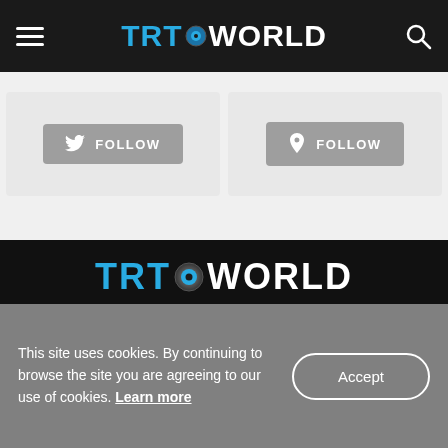TRT WORLD
[Figure (screenshot): Two follow buttons side by side - Twitter Follow and another Follow button on gray background]
[Figure (logo): TRT WORLD logo in large text on dark background]
TRT World ^
Watch Live
TV Schedule
This site uses cookies. By continuing to browse the site you are agreeing to our use of cookies. Learn more
Accept